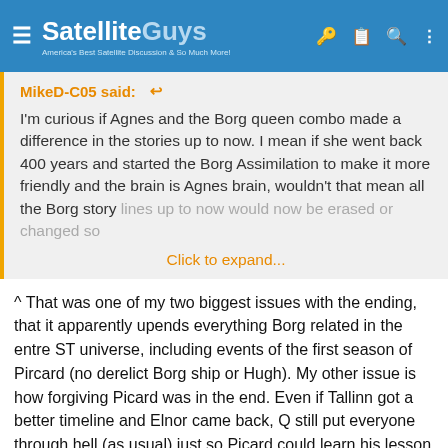[Figure (screenshot): SatelliteGuys website navigation bar with logo and icons]
MikeD-C05 said: ↩
I'm curious if Agnes and the Borg queen combo made a difference in the stories up to now. I mean if she went back 400 years and started the Borg Assimilation to make it more friendly and the brain is Agnes brain, wouldn't that mean all the Borg story lines up to now would now be erased or changed so
Click to expand...
^ That was one of my two biggest issues with the ending, that it apparently upends everything Borg related in the entre ST universe, including events of the first season of Pircard (no derelict Borg ship or Hugh). My other issue is how forgiving Picard was in the end. Even if Tallinn got a better timeline and Elnor came back, Q still put everyone through hell (as usual) just so Picard could learn his lesson about releasing